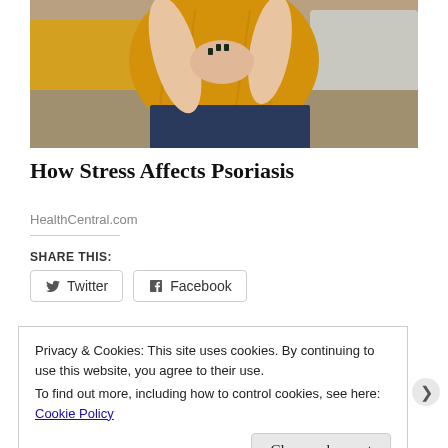[Figure (photo): A person in a yellow/mustard sweater sitting on a couch, holding/scratching their wrist, with yellow and grey pillows in the background.]
How Stress Affects Psoriasis
HealthCentral.com
SHARE THIS:
Twitter  Facebook
Privacy & Cookies: This site uses cookies. By continuing to use this website, you agree to their use.
To find out more, including how to control cookies, see here: Cookie Policy
Close and accept